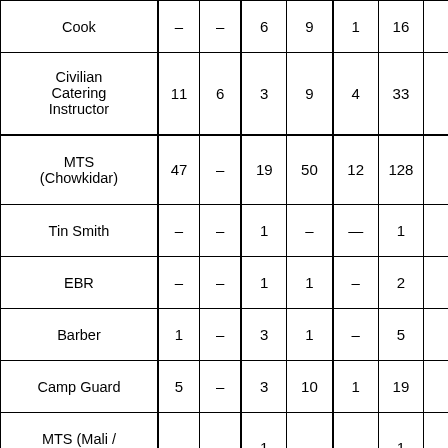| Role | Col1 | Col2 | Col3 | Col4 | Col5 | Total |
| --- | --- | --- | --- | --- | --- | --- |
| Cook | – | – | 6 | 9 | 1 | 16 |
| Civilian Catering Instructor | 11 | 6 | 3 | 9 | 4 | 33 |
| MTS (Chowkidar) | 47 | – | 19 | 50 | 12 | 128 |
| Tin Smith | – | – | 1 | – | — | 1 |
| EBR | – | – | 1 | 1 | – | 2 |
| Barber | 1 | – | 3 | 1 | – | 5 |
| Camp Guard | 5 | – | 3 | 10 | 1 | 19 |
| MTS (Mali / Gardener) | – | – | 1 | – | – | 1 |
| MTS (Messenger / | – | – | 1 | 3 | – | 4 |